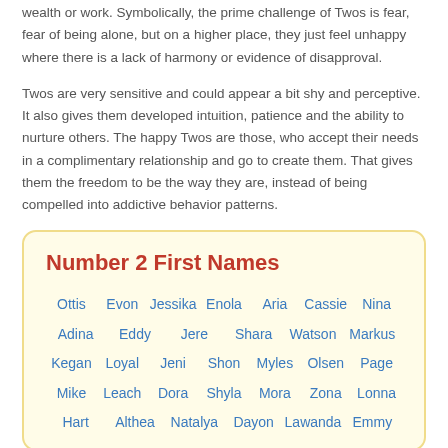wealth or work. Symbolically, the prime challenge of Twos is fear, fear of being alone, but on a higher place, they just feel unhappy where there is a lack of harmony or evidence of disapproval.
Twos are very sensitive and could appear a bit shy and perceptive. It also gives them developed intuition, patience and the ability to nurture others. The happy Twos are those, who accept their needs in a complimentary relationship and go to create them. That gives them the freedom to be the way they are, instead of being compelled into addictive behavior patterns.
Number 2 First Names
Ottis Evon Jessika Enola Aria Cassie Nina Adina Eddy Jere Shara Watson Markus Kegan Loyal Jeni Shon Myles Olsen Page Mike Leach Dora Shyla Mora Zona Lonna Hart Althea Natalya Dayon Lawanda Emmy